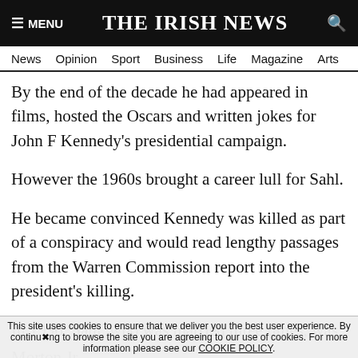≡ MENU  THE IRISH NEWS  🔍
News  Opinion  Sport  Business  Life  Magazine  Arts
By the end of the decade he had appeared in films, hosted the Oscars and written jokes for John F Kennedy's presidential campaign.
However the 1960s brought a career lull for Sahl.
He became convinced Kennedy was killed as part of a conspiracy and would read lengthy passages from the Warren Commission report into the president's killing.
In 1996, Sahl, who was married three times, was
Morton Jr.
This site uses cookies to ensure that we deliver you the best user experience. By continuing to browse the site you are agreeing to our use of cookies. For more information please see our COOKIE POLICY.